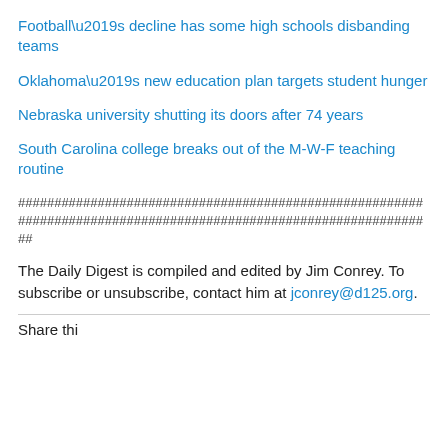Football’s decline has some high schools disbanding teams
Oklahoma’s new education plan targets student hunger
Nebraska university shutting its doors after 74 years
South Carolina college breaks out of the M-W-F teaching routine
###############################################################################################################
The Daily Digest is compiled and edited by Jim Conrey. To subscribe or unsubscribe, contact him at jconrey@d125.org.
Share this